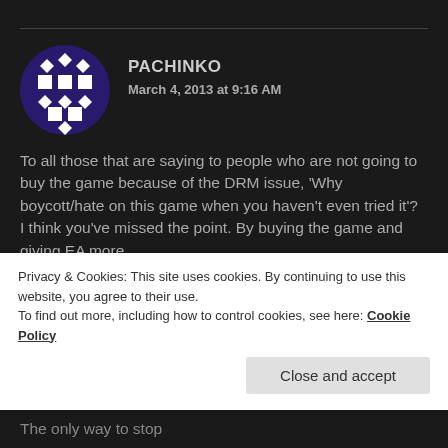[Figure (illustration): Circular avatar with dark blue/purple background and white diamond/square geometric pattern]
PACHINKO
March 4, 2013 at 9:16 AM
To all those that are saying to people who are not going to buy the game because of the DRM issue, 'Why boycott/hate on this game when you haven't even tried it'?
I think you've missed the point. By buying the game and giving EA more
money, you're tacitly endorsing their always online
Privacy & Cookies: This site uses cookies. By continuing to use this website, you agree to their use.
To find out more, including how to control cookies, see here: Cookie Policy
Close and accept
The only way to stop